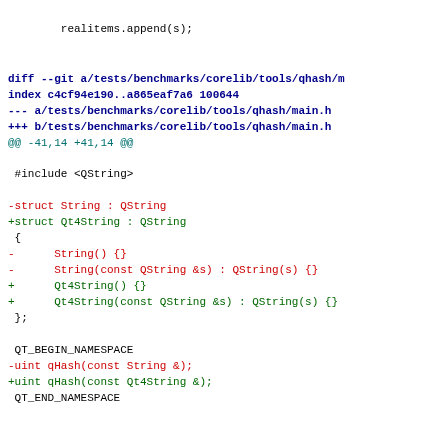realitems.append(s);
diff --git a/tests/benchmarks/corelib/tools/qhash/m
index c4cf94e190..a865eaf7a6 100644
--- a/tests/benchmarks/corelib/tools/qhash/main.h
+++ b/tests/benchmarks/corelib/tools/qhash/main.h
@@ -41,14 +41,14 @@

 #include <QString>

-struct String : QString
+struct Qt4String : QString
 {
-      String() {}
-      String(const QString &s) : QString(s) {}
+      Qt4String() {}
+      Qt4String(const QString &s) : QString(s) {}
 };

 QT_BEGIN_NAMESPACE
-uint qHash(const String &);
+uint qHash(const Qt4String &);
 QT_END_NAMESPACE
diff --git a/tests/benchmarks/corelib/tools/qhash/o
index 162c604a35..75d99f96f8 100644
--- a/tests/benchmarks/corelib/tools/qhash/outoflin